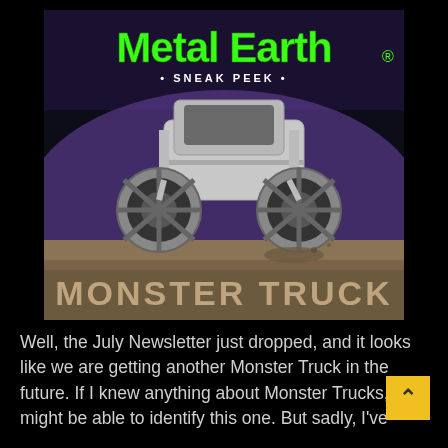[Figure (photo): Metal Earth promotional card showing a silver metallic monster truck model against a dark arena background with purple lighting. The card has the 'Metal Earth' logo in bright green at the top, '• SNEAK PEEK •' text below it, and 'MONSTER TRUCK' text in large tan/brown letters at the bottom of the card.]
Well, the July Newsletter just dropped, and it looks like we are getting another Monster Truck in the future. If I knew anything about Monster Trucks, I might be able to identify this one. But sadly, I've